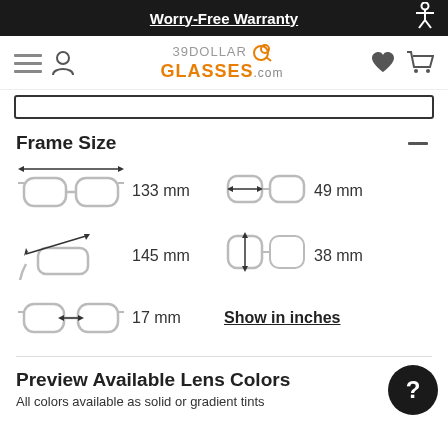Worry-Free Warranty
[Figure (screenshot): 39DollarGlasses.com navigation bar with hamburger menu, user icon, logo, heart icon, and cart icon]
Frame Size
[Figure (infographic): Frame size diagram showing glasses with measurements: full width 133mm, lens width 49mm, temple length 145mm, lens height 38mm, bridge width 17mm, with Show in inches link]
Preview Available Lens Colors
All colors available as solid or gradient tints